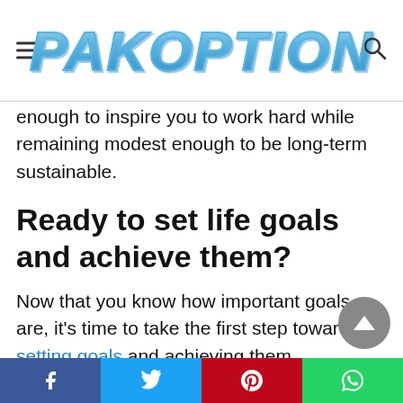PAKOPTION
enough to inspire you to work hard while remaining modest enough to be long-term sustainable.
Ready to set life goals and achieve them?
Now that you know how important goals are, it's time to take the first step toward setting goals and achieving them.
Whether it's personal goals for yourself or company-driven goals for your team, the goal-